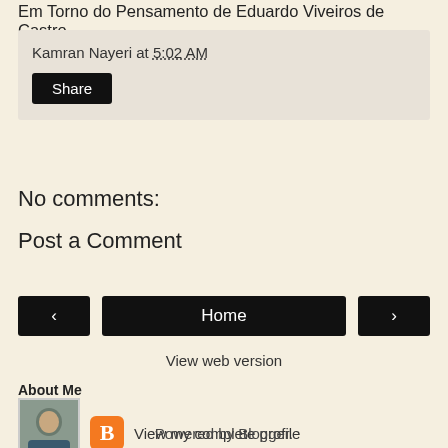Em Torno do Pensamento de Eduardo Viveiros de Castro.
Kamran Nayeri at 5:02 AM
Share
No comments:
Post a Comment
‹
Home
›
View web version
About Me
[Figure (photo): Profile photo of a man with arms crossed]
[Figure (logo): Blogger orange B logo icon]
View my complete profile
Powered by Blogger.